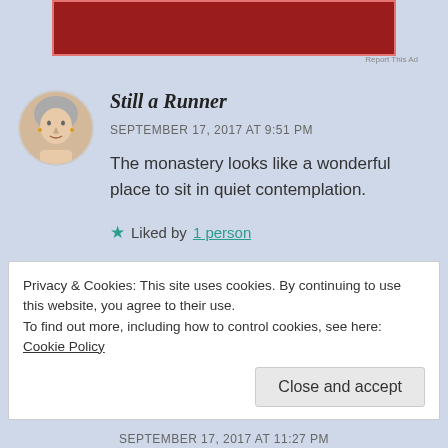[Figure (other): Red advertisement banner at top of page]
Report this ad
[Figure (photo): Avatar photo of commenter, an older woman with short grey hair]
Still a Runner
SEPTEMBER 17, 2017 AT 9:51 PM
The monastery looks like a wonderful place to sit in quiet contemplation.
★ Liked by 1 person
REPLY
Privacy & Cookies: This site uses cookies. By continuing to use this website, you agree to their use.
To find out more, including how to control cookies, see here: Cookie Policy
Close and accept
SEPTEMBER 17, 2017 AT 11:27 PM